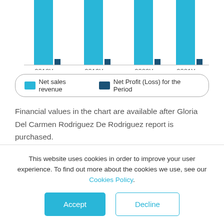[Figure (bar-chart): Net sales revenue / Net Profit (Loss) for the Period]
Financial values in the chart are available after Gloria Del Carmen Rodriguez De Rodriguez report is purchased.
LOOKING FOR MORE THAN JUST A COMPANY REPORT?
This website uses cookies in order to improve your user experience. To find out more about the cookies we use, see our Cookies Policy.